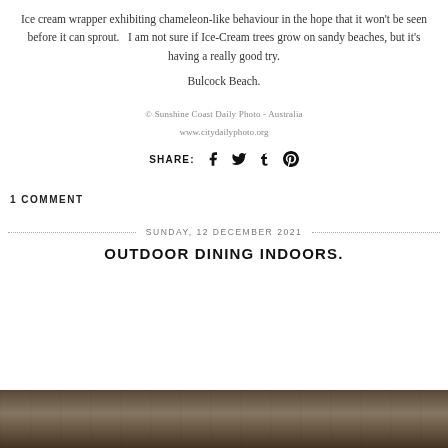Ice cream wrapper exhibiting chameleon-like behaviour in the hope that it won't be seen before it can sprout.   I am not sure if Ice-Cream trees grow on sandy beaches, but it's having a really good try.
Bulcock Beach.
© Sunshine Coast Daily Photo - Australia
www.citydailyphoto.org
SHARE:
1 COMMENT
SUNDAY, 12 DECEMBER 2021
OUTDOOR DINING INDOORS.
[Figure (photo): Bottom strip showing interior of a restaurant with dim warm lighting]